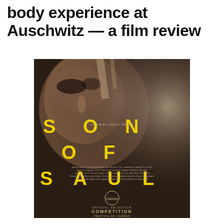body experience at Auschwitz — a film review
[Figure (photo): Movie poster for 'Son of Saul' (Saul fia), a film by Laszlo Nemes. Close-up of a man's face in dark brownish tones with bold yellow spaced letters reading SON OF SAUL overlaid. Small text 'A FILM BY LASZLO NEMES' appears in the middle. Bottom shows Cannes Film Festival official selection Competition laurel logo. Cast and crew credits appear in small text.]